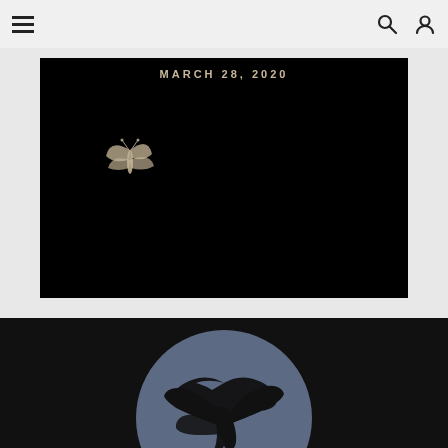Navigation header with menu, search, and user icons
[Figure (photo): Dark/black background image with text 'MARCH 28, 2020' and a small moth or butterfly silhouette visible in the lower left area]
[Figure (logo): Dark background section with a circular logo featuring a hummingbird silhouette on a blue-grey circle]